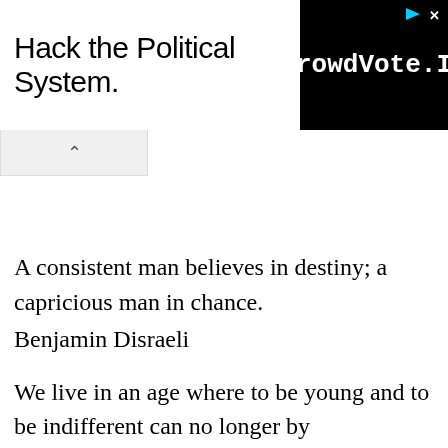[Figure (screenshot): Advertisement banner: 'Hack the Political System.' text on left, and 'CrowdVote.IO' logo in black box on right with play and close icons]
A consistent man believes in destiny; a capricious man in chance.
Benjamin Disraeli
We live in an age where to be young and to be indifferent can no longer by synonymous. We must